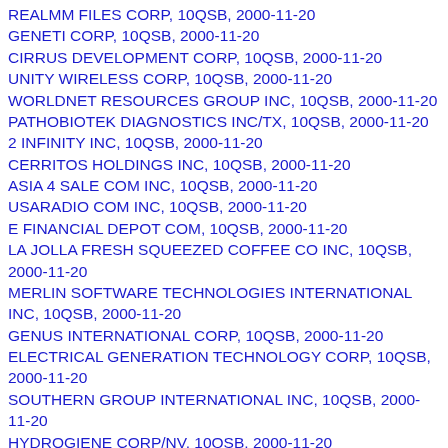REALMM FILES CORP, 10QSB, 2000-11-20
GENETI CORP, 10QSB, 2000-11-20
CIRRUS DEVELOPMENT CORP, 10QSB, 2000-11-20
UNITY WIRELESS CORP, 10QSB, 2000-11-20
WORLDNET RESOURCES GROUP INC, 10QSB, 2000-11-20
PATHOBIOTEK DIAGNOSTICS INC/TX, 10QSB, 2000-11-20
2 INFINITY INC, 10QSB, 2000-11-20
CERRITOS HOLDINGS INC, 10QSB, 2000-11-20
ASIA 4 SALE COM INC, 10QSB, 2000-11-20
USARADIO COM INC, 10QSB, 2000-11-20
E FINANCIAL DEPOT COM, 10QSB, 2000-11-20
LA JOLLA FRESH SQUEEZED COFFEE CO INC, 10QSB, 2000-11-20
MERLIN SOFTWARE TECHNOLOGIES INTERNATIONAL INC, 10QSB, 2000-11-20
GENUS INTERNATIONAL CORP, 10QSB, 2000-11-20
ELECTRICAL GENERATION TECHNOLOGY CORP, 10QSB, 2000-11-20
SOUTHERN GROUP INTERNATIONAL INC, 10QSB, 2000-11-20
HYDROGIENE CORP/NV, 10QSB, 2000-11-20
XAIBE INC, 10QSB, 2000-11-20
PACIFIC CMA INC, 10QSB, 2000-11-20
TELEFFICIENCY HOLDING CORP, 10QSB, 2000-11-20
BASIC TECHNOLOGIES INC, 10QSB, 2000-11-20
ALFA INTERNATIONAL CORP, 10QSB, 2000-11-20